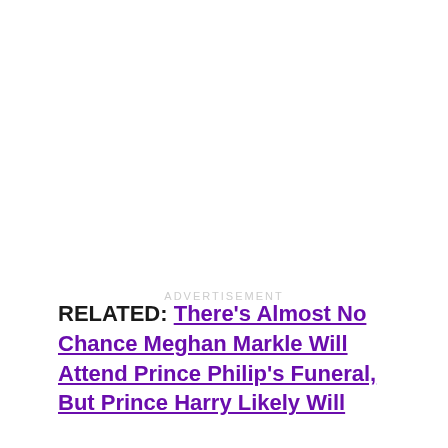ADVERTISEMENT
RELATED: There's Almost No Chance Meghan Markle Will Attend Prince Philip's Funeral, But Prince Harry Likely Will